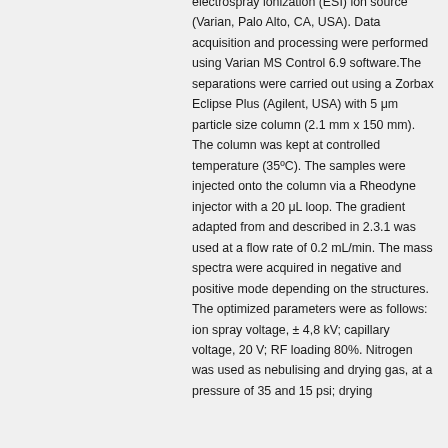electrospray ionization (ESI) ion source (Varian, Palo Alto, CA, USA). Data acquisition and processing were performed using Varian MS Control 6.9 software.The separations were carried out using a Zorbax Eclipse Plus (Agilent, USA) with 5 μm particle size column (2.1 mm x 150 mm). The column was kept at controlled temperature (35ºC). The samples were injected onto the column via a Rheodyne injector with a 20 μL loop. The gradient adapted from and described in 2.3.1 was used at a flow rate of 0.2 mL/min. The mass spectra were acquired in negative and positive mode depending on the structures. The optimized parameters were as follows: ion spray voltage, ± 4,8 kV; capillary voltage, 20 V; RF loading 80%. Nitrogen was used as nebulising and drying gas, at a pressure of 35 and 15 psi; drying